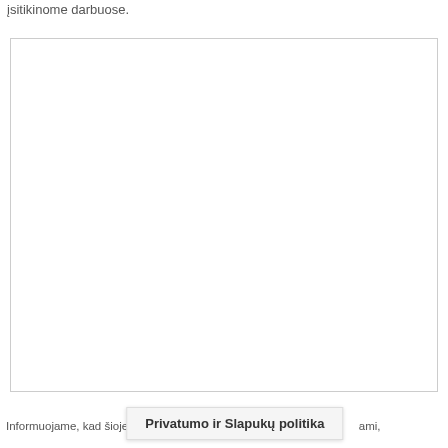įsitikinome darbuose.
[Figure (other): Large empty white box with a thin border, representing a content area or image placeholder on a Lithuanian website page.]
Informuojame, kad šioje svetainėje na... ...ami,
Privatumo ir Slapukų politika